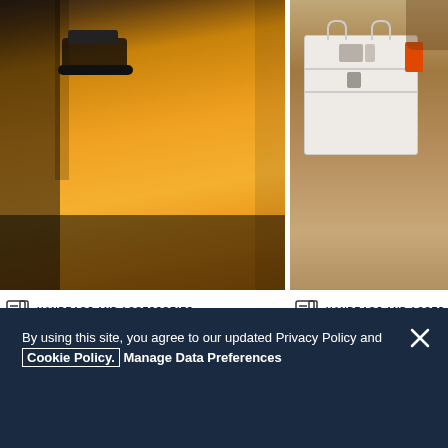[Figure (photo): Person in yellow/orange jacket holding a black bag, street style photo]
[Figure (photo): Person holding a white Hermès Birkin style handbag with orange tag, street style photo]
HANDBAGS AND ACCESSORIES
The Complete Guide to the Hermès Birkin Faubourg
HANDBAGS AND ACCES...
The Top 6 Most Ex... Hermès Birkin Bag...
By using this site, you agree to our updated Privacy Policy and Cookie Policy. Manage Data Preferences